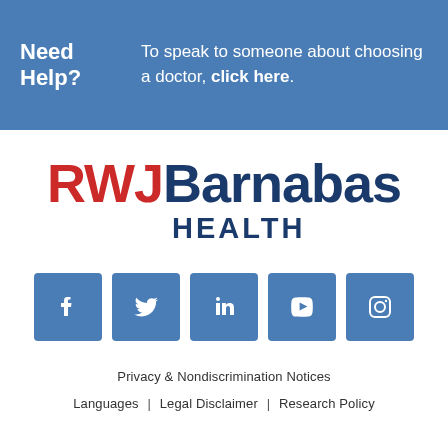Need Help? To speak to someone about choosing a doctor, click here.
[Figure (logo): RWJBarnabas Health logo with red RWJ and dark blue Barnabas Health text]
[Figure (infographic): Row of five social media icons: Facebook, Twitter, LinkedIn, YouTube, Instagram — blue square tiles with white icons]
Privacy & Nondiscrimination Notices
Languages | Legal Disclaimer | Research Policy